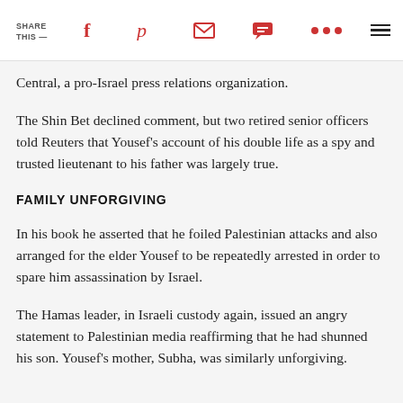SHARE THIS —
Central, a pro-Israel press relations organization.
The Shin Bet declined comment, but two retired senior officers told Reuters that Yousef's account of his double life as a spy and trusted lieutenant to his father was largely true.
FAMILY UNFORGIVING
In his book he asserted that he foiled Palestinian attacks and also arranged for the elder Yousef to be repeatedly arrested in order to spare him assassination by Israel.
The Hamas leader, in Israeli custody again, issued an angry statement to Palestinian media reaffirming that he had shunned his son. Yousef's mother, Subha, was similarly unforgiving.